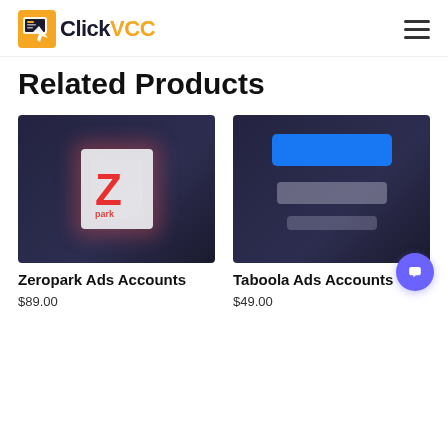ClickVCC
Related Products
[Figure (photo): Zeropark product thumbnail image with dark background and red/white logo]
Zeropark Ads Accounts
$89.00
[Figure (photo): Taboola product thumbnail image with dark background and blue Facebook/Taboola branding]
Taboola Ads Accounts
$49.00